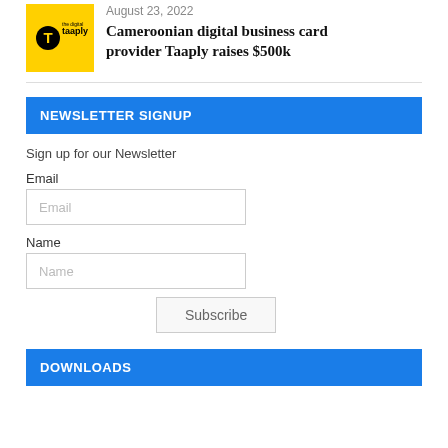[Figure (logo): Taaply logo — yellow square background with black T circle icon and 'taaply' wordmark in black]
August 23, 2022
Cameroonian digital business card provider Taaply raises $500k
NEWSLETTER SIGNUP
Sign up for our Newsletter
Email
Name
Subscribe
DOWNLOADS